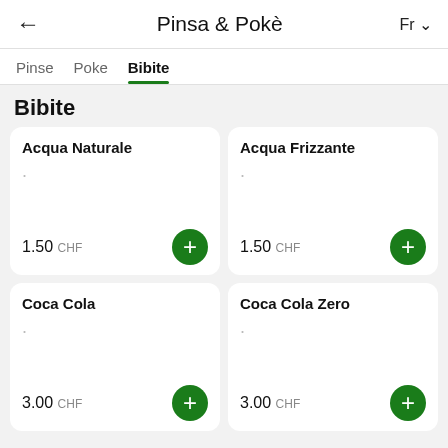← Pinsa & Pokè  Fr ∨
Pinse  Poke  Bibite (tabs)
Bibite
Acqua Naturale
1.50 CHF
Acqua Frizzante
1.50 CHF
Coca Cola
3.00 CHF
Coca Cola Zero
3.00 CHF